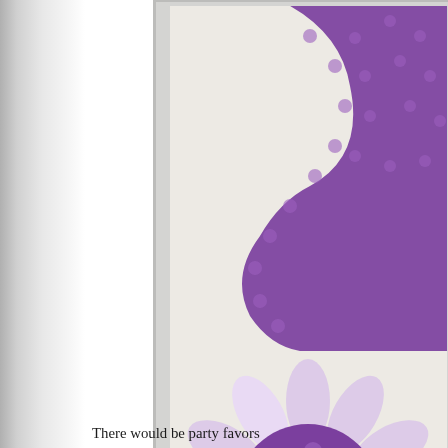[Figure (photo): A handmade craft card featuring purple polka-dot paper cutouts including a decorative swirl/number shape at the top, a large daisy flower with light purple petals and a purple polka-dot circular center, a rectangular purple tag/pocket shape, and a cream button, all arranged on a cream/beige textured cardstock background. The photo is partially cropped on the right side.]
There would be party favors